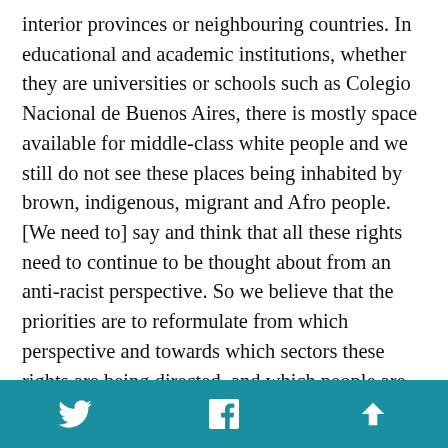interior provinces or neighbouring countries. In educational and academic institutions, whether they are universities or schools such as Colegio Nacional de Buenos Aires, there is mostly space available for middle-class white people and we still do not see these places being inhabited by brown, indigenous, migrant and Afro people. [We need to] say and think that all these rights need to continue to be thought about from an anti-racist perspective. So we believe that the priorities are to reformulate from which perspective and towards which sectors these rights are being directed, and which people are able to access them. That is why in Identidad Marrón we believe in thinking about education with an anti-racist approach, thinking about employment quotas for trasvesti-trans people with an anti-racist approach, thinking about an intersectional feminism with an anti-racist approach, ensuring that all the rights that are
Twitter  Facebook  Up